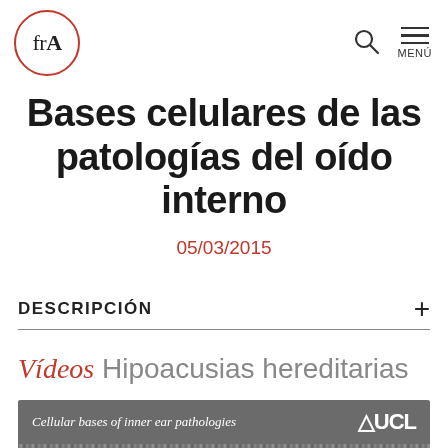frA [logo] | search | MENÚ
Bases celulares de las patologías del oído interno
05/03/2015
DESCRIPCIÓN +
Vídeos Hipoacusias hereditarias
[Figure (screenshot): Video thumbnail showing 'Cellular bases of inner ear pathologies' with UCL logo on grey background]